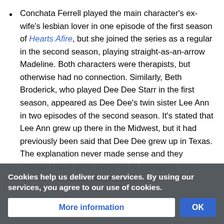Conchata Ferrell played the main character's ex-wife's lesbian lover in one episode of the first season of Hearts Afire, but she joined the series as a regular in the second season, playing straight-as-an-arrow Madeline. Both characters were therapists, but otherwise had no connection. Similarly, Beth Broderick, who played Dee Dee Starr in the first season, appeared as Dee Dee's twin sister Lee Ann in two episodes of the second season. It's stated that Lee Ann grew up there in the Midwest, but it had previously been said that Dee Dee grew up in Texas. The explanation never made sense and they shouldn't have even bothered to attempt to Hand Wave the stunning resemblance away.
might a heroes that this quite a bit. Yoban Hale played seven one-shot characters over the course of the show, including a C... of the series. Many of them were German officers with another...
Cookies help us deliver our services. By using our services, you agree to our use of cookies.